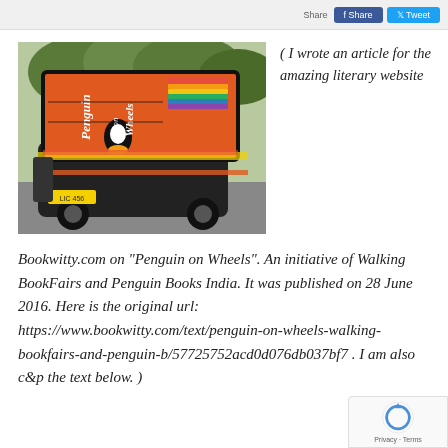[Figure (photo): Photograph of a Penguin on Wheels vehicle — a black auto-rickshaw topped with a large orange branded Penguin Books display box showing the Penguin logo and 'Penguin on Wheels' text, parked outdoors with trees in background.]
( I wrote an article for the amazing literary website
Bookwitty.com on "Penguin on Wheels". An initiative of Walking BookFairs and Penguin Books India. It was published on 28 June 2016. Here is the original url: https://www.bookwitty.com/text/penguin-on-wheels-walking-bookfairs-and-penguin-b/57725752acd0d076db037bf7 . I am also c&p the text below. )